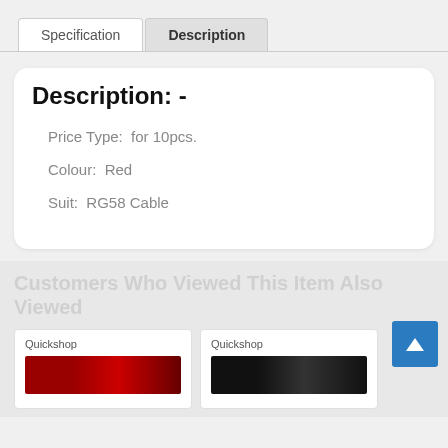Specification
Description
Description: -
Price Type:  for 10pcs.
Colour:  Red
Suit:  RG58 Cable
Customers Who Viewed This Item Also Viewed
Quickshop
Quickshop